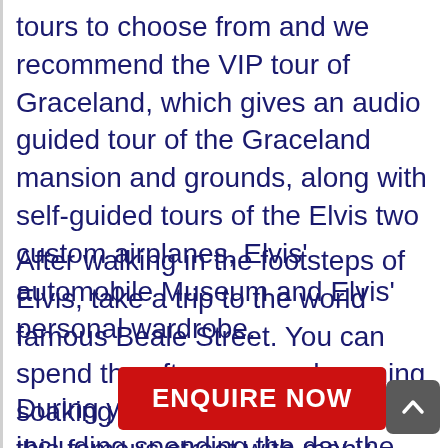tours to choose from and we recommend the VIP tour of Graceland, which gives an audio guided tour of the Graceland mansion and grounds, along with self-guided tours of the Elvis two custom airplanes, Elvis' automobile Museum and Elvis' personal wardrobe.
After walking in the footsteps of Elvis, take a trip to the world famous Beale Street. You can spend the afternoon and evening soaking up the atmosphere of this famous street with many clubs, live music, bars restaurants and shops to choose from.
During your time in Memphis including spending the day the banks of the Mississippi river which provides great parks and recreational areas, vi... r Memphis Rock S... and the ...